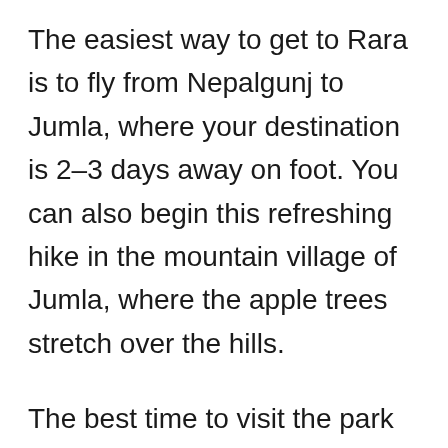The easiest way to get to Rara is to fly from Nepalgunj to Jumla, where your destination is 2–3 days away on foot. You can also begin this refreshing hike in the mountain village of Jumla, where the apple trees stretch over the hills.
The best time to visit the park is in spring, summer, and autumn. The more people visit the park, the better the tourism services and infrastructure have developed over the years. Nevertheless, for a great experience